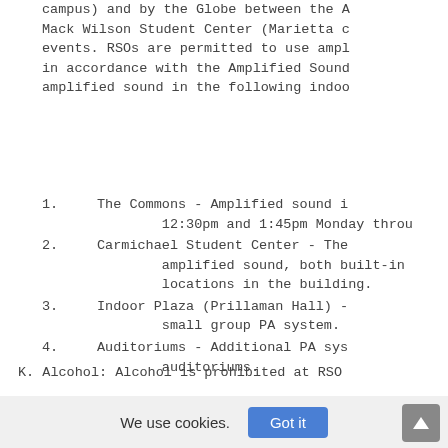campus) and by the Globe between the A Mack Wilson Student Center (Marietta c events. RSOs are permitted to use ampl in accordance with the Amplified Sound amplified sound in the following indoo
1.      The Commons - Amplified sound i 12:30pm and 1:45pm Monday throu
2.      Carmichael Student Center - The amplified sound, both built-in locations in the building.
3.      Indoor Plaza (Prillaman Hall) - small group PA system.
4.      Auditoriums - Additional PA sys auditoriums.
K. Alcohol: Alcohol is prohibited at RSO
L. Liability: The Department of C